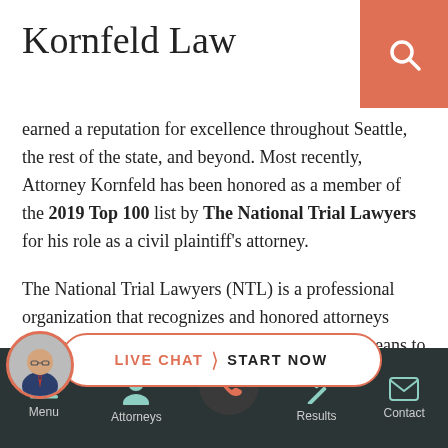Kornfeld Law
earned a reputation for excellence throughout Seattle, the rest of the state, and beyond. Most recently, Attorney Kornfeld has been honored as a member of the 2019 Top 100 list by The National Trial Lawyers for his role as a civil plaintiff's attorney.
The National Trial Lawyers (NTL) is a professional organization that recognizes and honored attorneys widely believed to be demonstrative of what it means to excel as a civil plaintiff or criminal defense lawyer. Attorneys across ou...ch year, but a slim percentage will actually be chosen. In particular,
[Figure (screenshot): Live chat widget with circular avatar photo of attorney and pill-shaped button reading LIVE CHAT > START NOW]
[Figure (screenshot): Mobile bottom navigation bar with Menu, Attorneys, phone call button (center, highlighted in orange), Results, and Contact icons on dark background]